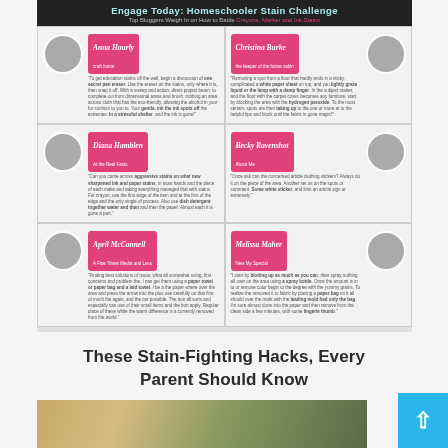[Figure (infographic): Infographic titled 'Engage Today: Homeschooler Stain Challenge' with subtitle 'Top Bloggers Weigh In on How to Battle Crayon, Marker and Ink Stains'. Features a 2-column, 3-row grid of blogger profiles, each with a circular avatar photo, pink name banner with blogger name and blog URL, and a text quote about stain removal. Bloggers: Anna Hourly, Christina Burke, Diana Hamblen, Becky Ravenshot, April McConnell, Melissa Maher.]
These Stain-Fighting Hacks, Every Parent Should Know
[Figure (photo): Close-up photo of a child's hair, blonde and slightly messy, with green foliage in the background.]